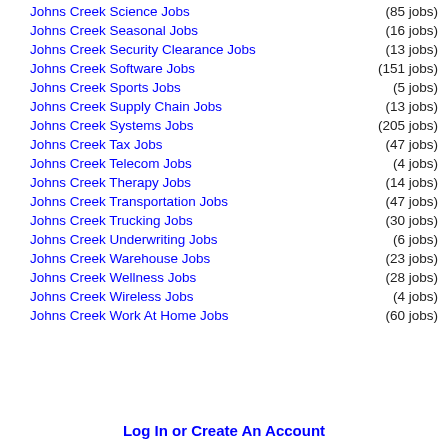Johns Creek Science Jobs (85 jobs)
Johns Creek Seasonal Jobs (16 jobs)
Johns Creek Security Clearance Jobs (13 jobs)
Johns Creek Software Jobs (151 jobs)
Johns Creek Sports Jobs (5 jobs)
Johns Creek Supply Chain Jobs (13 jobs)
Johns Creek Systems Jobs (205 jobs)
Johns Creek Tax Jobs (47 jobs)
Johns Creek Telecom Jobs (4 jobs)
Johns Creek Therapy Jobs (14 jobs)
Johns Creek Transportation Jobs (47 jobs)
Johns Creek Trucking Jobs (30 jobs)
Johns Creek Underwriting Jobs (6 jobs)
Johns Creek Warehouse Jobs (23 jobs)
Johns Creek Wellness Jobs (28 jobs)
Johns Creek Wireless Jobs (4 jobs)
Johns Creek Work At Home Jobs (60 jobs)
Log In or Create An Account